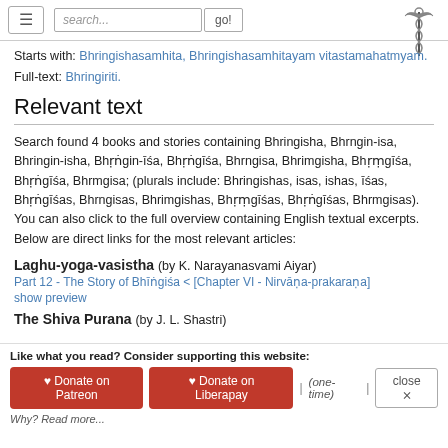≡  search...  go!
Starts with: Bhringishasamhita, Bhringishasamhitayam vitastamahatmyam.
Full-text: Bhringiriti.
Relevant text
Search found 4 books and stories containing Bhringisha, Bhrngin-isa, Bhringin-isha, Bhṛṅgin-īśa, Bhṛṅgīśa, Bhrngisa, Bhrimgisha, Bhṛṃgīśa, Bhṛṅgīśa, Bhrmgisa; (plurals include: Bhringishas, isas, ishas, īśas, Bhṛṅgīśas, Bhrngisas, Bhrimgishas, Bhṛṃgīśas, Bhṛṅgīśas, Bhrmgisas). You can also click to the full overview containing English textual excerpts. Below are direct links for the most relevant articles:
Laghu-yoga-vasistha (by K. Narayanasvami Aiyar)
Part 12 - The Story of Bhīṅgiśa < [Chapter VI - Nirvāṇa-prakaraṇa]
show preview
The Shiva Purana (by J. L. Shastri)